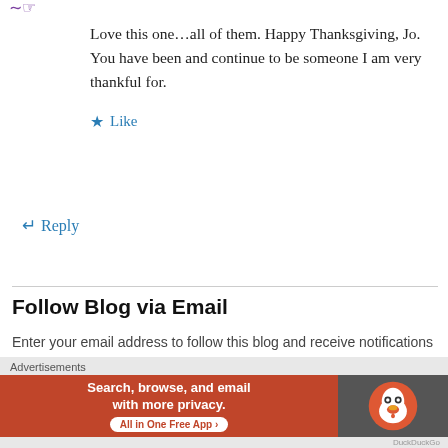[Figure (illustration): Small purple avatar/icon in top-left corner]
Love this one…all of them. Happy Thanksgiving, Jo. You have been and continue to be someone I am very thankful for.
★ Like
↵ Reply
Follow Blog via Email
Enter your email address to follow this blog and receive notifications of new posts by email.
Enter your email address
Advertisements
[Figure (infographic): DuckDuckGo advertisement banner: orange section reads 'Search, browse, and email with more privacy. All in One Free App', dark section shows DuckDuckGo duck logo]